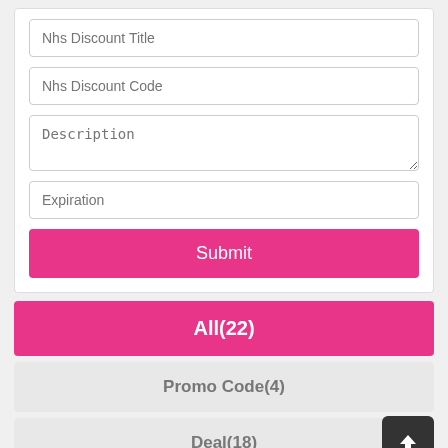Nhs Discount Title
Nhs Discount Code
Description
Expiration
Submit
All(22)
Promo Code(4)
Deal(18)
Free Shipping(2)